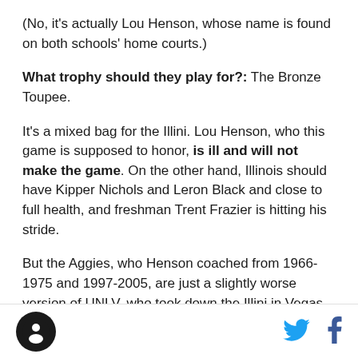(No, it's actually Lou Henson, whose name is found on both schools' home courts.)
What trophy should they play for?: The Bronze Toupee.
It's a mixed bag for the Illini. Lou Henson, who this game is supposed to honor, is ill and will not make the game. On the other hand, Illinois should have Kipper Nichols and Leron Black and close to full health, and freshman Trent Frazier is hitting his stride.
But the Aggies, who Henson coached from 1966-1975 and 1997-2005, are just a slightly worse version of UNLV, who took down the Illini in Vegas last weekend. Led by dismissed by Minnesota, then Illinois State